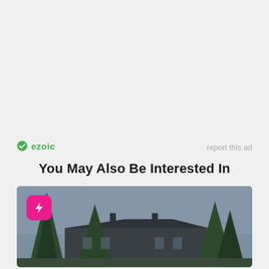[Figure (logo): Ezoic logo with green circular checkmark icon and green bold text 'ezoic']
report this ad
You May Also Be Interested In
[Figure (photo): Outdoor photo of a large building or estate with tall evergreen trees against an overcast gray sky. A pink rounded square button with a lightning bolt icon appears in the upper left of the image.]